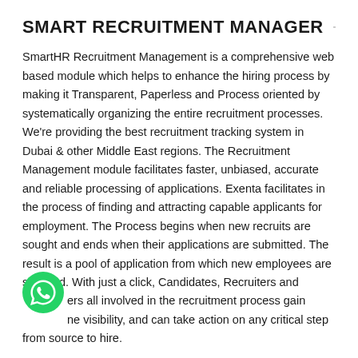SMART RECRUITMENT MANAGER
SmartHR Recruitment Management is a comprehensive web based module which helps to enhance the hiring process by making it Transparent, Paperless and Process oriented by systematically organizing the entire recruitment processes. We're providing the best recruitment tracking system in Dubai & other Middle East regions. The Recruitment Management module facilitates faster, unbiased, accurate and reliable processing of applications. Exenta facilitates in the process of finding and attracting capable applicants for employment. The Process begins when new recruits are sought and ends when their applications are submitted. The result is a pool of application from which new employees are selected. With just a click, Candidates, Recruiters and Managers all involved in the recruitment process gain real-time visibility, and can take action on any critical step from source to hire.